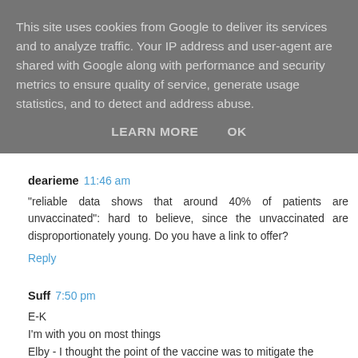This site uses cookies from Google to deliver its services and to analyze traffic. Your IP address and user-agent are shared with Google along with performance and security metrics to ensure quality of service, generate usage statistics, and to detect and address abuse.
LEARN MORE   OK
dearieme 11:46 am
"reliable data shows that around 40% of patients are unvaccinated": hard to believe, since the unvaccinated are disproportionately young. Do you have a link to offer?
Reply
Suff 7:50 pm
E-K
I'm with you on most things
Elby - I thought the point of the vaccine was to mitigate the